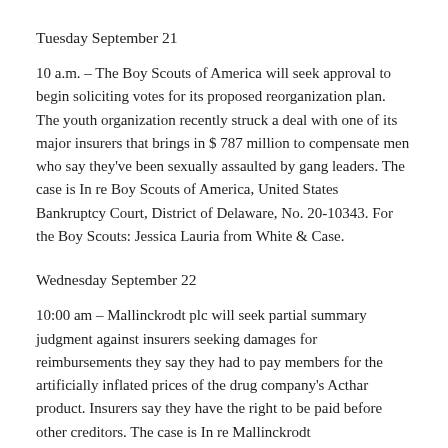Tuesday September 21
10 a.m. – The Boy Scouts of America will seek approval to begin soliciting votes for its proposed reorganization plan. The youth organization recently struck a deal with one of its major insurers that brings in $ 787 million to compensate men who say they've been sexually assaulted by gang leaders. The case is In re Boy Scouts of America, United States Bankruptcy Court, District of Delaware, No. 20-10343. For the Boy Scouts: Jessica Lauria from White & Case.
Wednesday September 22
10:00 am – Mallinckrodt plc will seek partial summary judgment against insurers seeking damages for reimbursements they say they had to pay members for the artificially inflated prices of the drug company's Acthar product. Insurers say they have the right to be paid before other creditors. The case is In re Mallinckrodt